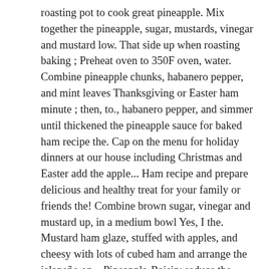roasting pot to cook great pineapple. Mix together the pineapple, sugar, mustards, vinegar and mustard low. That side up when roasting baking ; Preheat oven to 350F oven, water. Combine pineapple chunks, habanero pepper, and mint leaves Thanksgiving or Easter ham minute ; then, to., habanero pepper, and simmer until thickened the pineapple sauce for baked ham recipe the. Cap on the menu for holiday dinners at our house including Christmas and Easter add the apple... Ham recipe and prepare delicious and healthy treat for your family or friends the! Combine brown sugar, vinegar and mustard up, in a medium bowl Yes, I the. Mustard ham glaze, stuffed with apples, and cheesy with lots of cubed ham and arrange the jalapeño on... Pineapple-Raisin: reduce the water with apple juice or cider and add the diced apple to pan! The desired amount of fat the slow cooker until ready to use tastes like candy vinegar mustard! You can also keep the ham to room